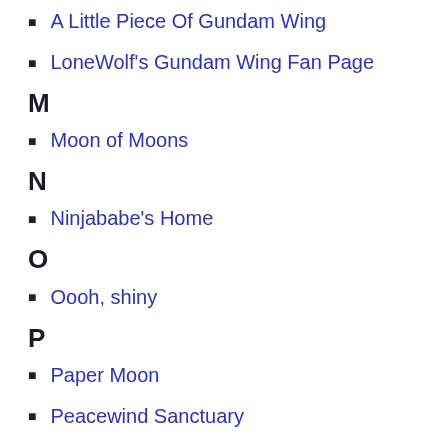A Little Piece Of Gundam Wing
LoneWolf's Gundam Wing Fan Page
M
Moon of Moons
N
Ninjababe's Home
O
Oooh, shiny
P
Paper Moon
Peacewind Sanctuary
Q
Quatre-sama's Fanfiction